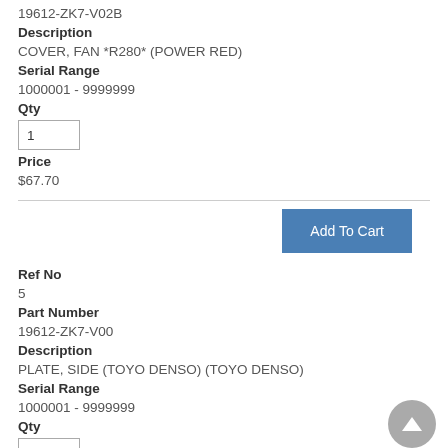19612-ZK7-V02B
Description
COVER, FAN *R280* (POWER RED)
Serial Range
1000001 - 9999999
Qty
1
Price
$67.70
Add To Cart
Ref No
5
Part Number
19612-ZK7-V00
Description
PLATE, SIDE (TOYO DENSO) (TOYO DENSO)
Serial Range
1000001 - 9999999
Qty